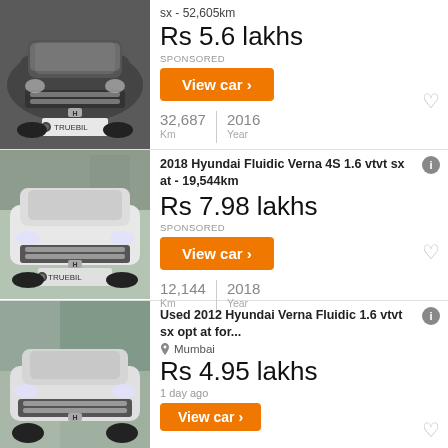[Figure (photo): Front view of a dark grey Hyundai Verna/Fluidic sedan with TRUEBIL license plate overlay]
sx - 52,605km
Rs 5.6 lakhs
SPONSORED
View car ›
32,687 Km | 2016 Year
[Figure (photo): Front view of a white Hyundai Fluidic Verna sedan with TRUEBIL license plate overlay]
2018 Hyundai Fluidic Verna 4S 1.6 vtvt sx at - 19,544km
Rs 7.98 lakhs
SPONSORED
View car ›
12,144 Km | 2018 Year
[Figure (photo): Front view of a white Hyundai Verna Fluidic sedan with partial view]
Used 2012 Hyundai Verna Fluidic 1.6 vtvt sx opt at for...
Mumbai
Rs 4.95 lakhs
1 day ago
View car ›